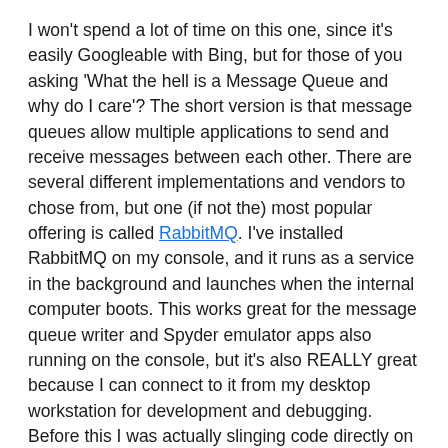I won't spend a lot of time on this one, since it's easily Googleable with Bing, but for those of you asking 'What the hell is a Message Queue and why do I care'? The short version is that message queues allow multiple applications to send and receive messages between each other. There are several different implementations and vendors to chose from, but one (if not the) most popular offering is called RabbitMQ. I've installed RabbitMQ on my console, and it runs as a service in the background and launches when the internal computer boots. This works great for the message queue writer and Spyder emulator apps also running on the console, but it's also REALLY great because I can connect to it from my desktop workstation for development and debugging. Before this I was actually slinging code directly on the console.
But wait a minute, you say, doesn't putting a message queue between a hardware button board and some software processing create a noticeable degradation in performance?